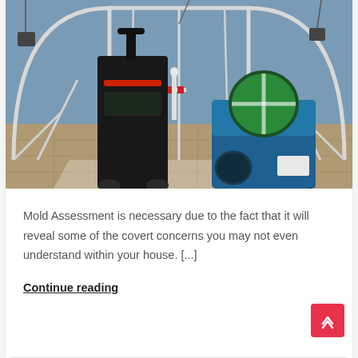[Figure (photo): Indoor mold remediation setup with white plastic containment frame/tent structure, a black dehumidifier on wheels, and a blue air scrubber on a tiled floor with blue wall in background.]
Mold Assessment is necessary due to the fact that it will reveal some of the covert concerns you may not even understand within your house. [...]
Continue reading